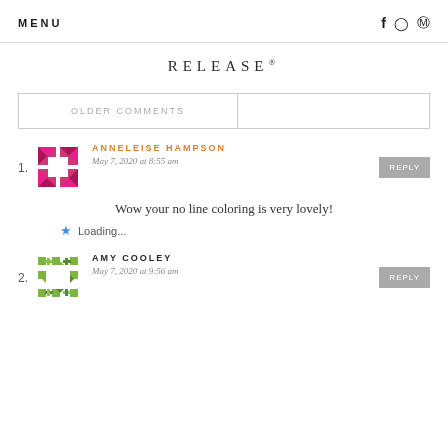MENU | f  ⓘ  ⓟ
RELEASE*
OLDER COMMENTS
1. ANNELEISE HAMPSON — May 7, 2020 at 8:55 am — REPLY
Wow your no line coloring is very lovely!
★ Loading...
2. AMY COOLEY — May 7, 2020 at 9:56 am — REPLY